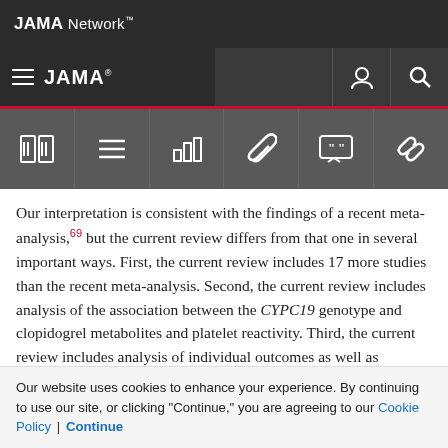JAMA Network
[Figure (screenshot): JAMA navigation bar with hamburger menu, JAMA logo, user icon, and search icon]
[Figure (screenshot): Toolbar with icons: book/article, list, bar chart, paperclip, quote, link]
Our interpretation is consistent with the findings of a recent meta-analysis,69 but the current review differs from that one in several important ways. First, the current review includes 17 more studies than the recent meta-analysis. Second, the current review includes analysis of the association between the CYPC19 genotype and clopidogrel metabolites and platelet reactivity. Third, the current review includes analysis of individual outcomes as well as composite cardiovascular outcomes. Fourth, the
Our website uses cookies to enhance your experience. By continuing to use our site, or clicking "Continue," you are agreeing to our Cookie Policy | Continue